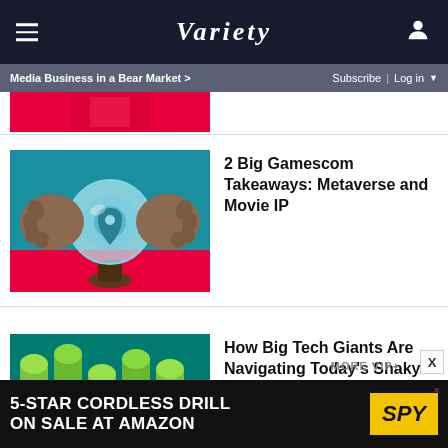VARIETY
Media Business in a Bear Market >  Subscribe | Log in
[Figure (photo): Partial image — red background with partial graphic, cropped at top]
2 Big Gamescom Takeaways: Metaverse and Movie IP
[Figure (photo): Two hands holding a crystal ball with a location pin/game controller icon, teal and pink background]
How Big Tech Giants Are Navigating Today's Shaky Economy
[Figure (photo): Green 3D cylindrical sticks with tech company logos: Snap, Meta, Alphabet/Google, Apple — on teal background]
MORE VIP+
[Figure (advertisement): Ad banner: 5-Star Cordless Drill on sale at Amazon — SPY logo on yellow background]